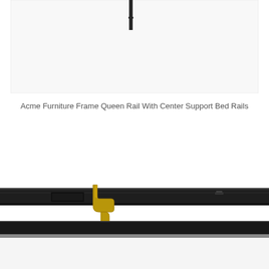[Figure (photo): Top portion of a bed rail product photo showing the upper end of a dark metal bed rail with a small connector hook visible at the top, on a white background]
Acme Furniture Frame Queen Rail With Center Support Bed Rails
[Figure (photo): Close-up photo of a dark black metal bed rail with a gold/brass colored center support hook bracket attached, showing the connection mechanism detail against a white background]